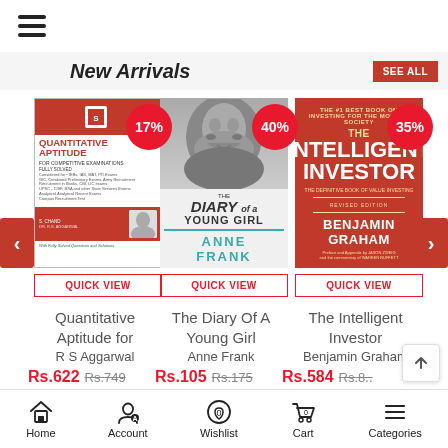[Figure (screenshot): Hamburger menu icon (three horizontal lines)]
New Arrivals
[Figure (screenshot): Book cover: Quantitative Aptitude for Competitive Examinations by R S Aggarwal (S. Chand), with 17% discount badge and QUICK VIEW button]
[Figure (screenshot): Book cover: The Diary of a Young Girl by Anne Frank, with 40% discount badge and QUICK VIEW button]
[Figure (screenshot): Book cover: The Intelligent Investor by Benjamin Graham, with 35% discount badge and QUICK VIEW button]
Quantitative Aptitude for
R S Aggarwal
The Diary Of A Young Girl
Anne Frank
The Intelligent Investor
Benjamin Graham
Rs.622  Rs.749
Rs.105  Rs.175
Rs.584  Rs.8..
Home  Account  Wishlist  Cart  Categories